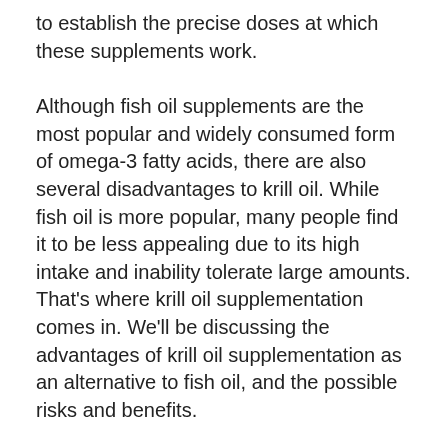to establish the precise doses at which these supplements work.
Although fish oil supplements are the most popular and widely consumed form of omega-3 fatty acids, there are also several disadvantages to krill oil. While fish oil is more popular, many people find it to be less appealing due to its high intake and inability tolerate large amounts. That's where krill oil supplementation comes in. We'll be discussing the advantages of krill oil supplementation as an alternative to fish oil, and the possible risks and benefits.
High-quality krill oil is extracted from pristine waters in the Antarctic Ocean and contains highly absorbable omega-3 fatty acids. It is known to have antioxidants called astaxanthin,